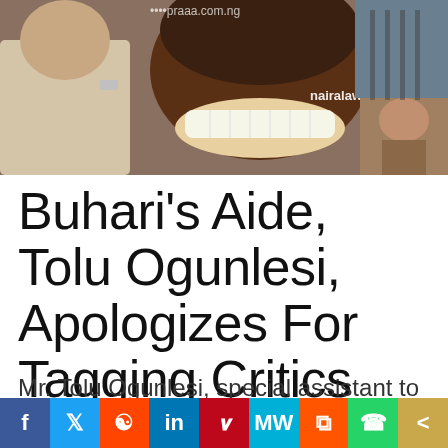[Figure (photo): Photo of two men, one smiling broadly showing teeth, with a smaller inset photo of another person. Watermark reads 'nairalaw.com']
Buhari's Aide, Tolu Ogunlesi, Apologizes For Tagging Critics 'Animal'
Mr. Tolu Ogunlesi, special assistant to President
[Figure (infographic): Social media sharing bar with buttons: Facebook, Twitter, Reddit, LinkedIn, Pinterest, MeWe, Mix, WhatsApp, Share]